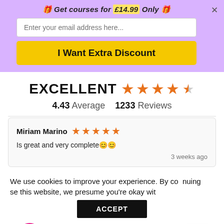🎁 Get courses for £14.99 Only 🎁
Enter your email address here...
I Want Extra Discount
EXCELLENT ★★★★½
4.43 Average   1233 Reviews
Miriam Marino ★★★★★
Is great and very complete😊😊
3 weeks ago
We use cookies to improve your experience. By continuing to use this website, we presume you're okay with
ACCEPT